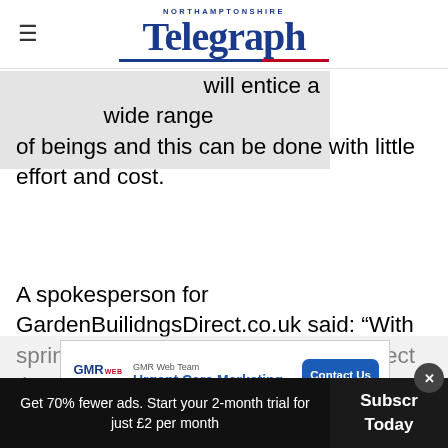NORTHAMPTONSHIRE Telegraph
[Figure (photo): Partially visible image, mostly covered by gray placeholder rectangle on left portion of page]
will entice a wide range of beings and this can be done with little effort and cost.
A spokesperson for GardenBuilidngsDirect.co.uk said: “With spring on the horizon, now is the perfect time to get busy [...]ck.
[Figure (other): Advertisement banner: GMR Web Team - Urgent Care Marketing - Contact Us button]
Get 70% fewer ads. Start your 2-month trial for just £2 per month
Subscribe Today